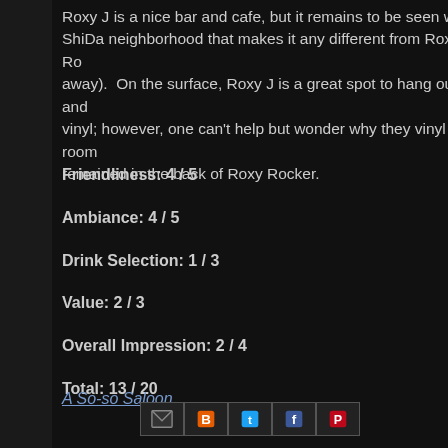Roxy J is a nice bar and cafe, but it remains to be seen what ShiDa neighborhood that makes it any different from Roxy Ro away). On the surface, Roxy J is a great spot to hang out and vinyl; however, one can't help but wonder why they vinyl room remained in the back of Roxy Rocker.
Friendliness: 4 / 5
Ambiance: 4 / 5
Drink Selection: 1 / 3
Value: 2 / 3
Overall Impression: 2 / 4
Total: 13 / 20
A So-so Saloon.
[Figure (other): Social media sharing icons: Gmail, Blogger, Twitter, Facebook, Pinterest]